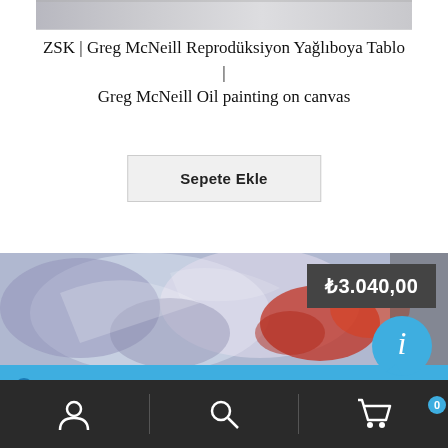[Figure (photo): Partial top view of a painting on canvas, cropped]
ZSK | Greg McNeill Reprodüksiyon Yağlıboya Tablo | Greg McNeill Oil painting on canvas
Sepete Ekle
[Figure (photo): Colorful oil painting showing abstract figures with red and blue tones]
₺3.040,00
2000 TL ve üzeri siparişleriniz adresinize montaj dahil ücretsiz teslim edilmektedir.
Kapat